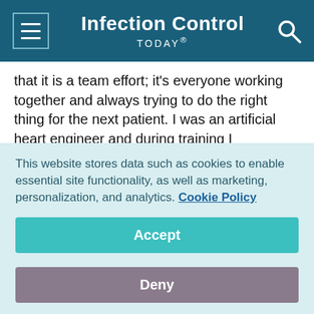Infection Control TODAY®
that it is a team effort; it's everyone working together and always trying to do the right thing for the next patient. I was an artificial heart engineer and during training I remember we were expected to clean and disinfect our intra-aortic balloon pump consoles; our trainer told me always clean and disinfect it like your family member is going to be using it next. Our workflow was such that cleaning and disinfection was supported, so that I had the time to devote to proper technique. So, it's a team effort and it must be supported by
This website stores data such as cookies to enable essential site functionality, as well as marketing, personalization, and analytics. Cookie Policy
Accept
Deny